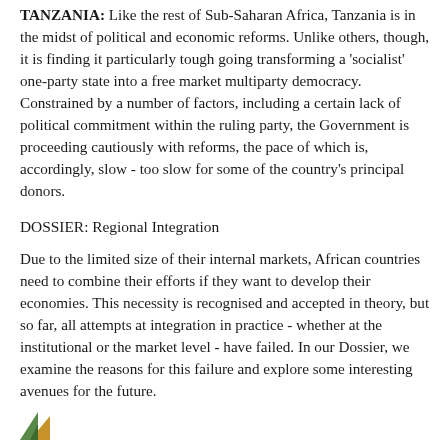TANZANIA: Like the rest of Sub-Saharan Africa, Tanzania is in the midst of political and economic reforms. Unlike others, though, it is finding it particularly tough going transforming a 'socialist' one-party state into a free market multiparty democracy. Constrained by a number of factors, including a certain lack of political commitment within the ruling party, the Government is proceeding cautiously with reforms, the pace of which is, accordingly, slow - too slow for some of the country's principal donors.
DOSSIER: Regional Integration
Due to the limited size of their internal markets, African countries need to combine their efforts if they want to develop their economies. This necessity is recognised and accepted in theory, but so far, all attempts at integration in practice - whether at the institutional or the market level - have failed. In our Dossier, we examine the reasons for this failure and explore some interesting avenues for the future.
[Figure (logo): Small triangular logo graphic in green and orange/yellow tones]